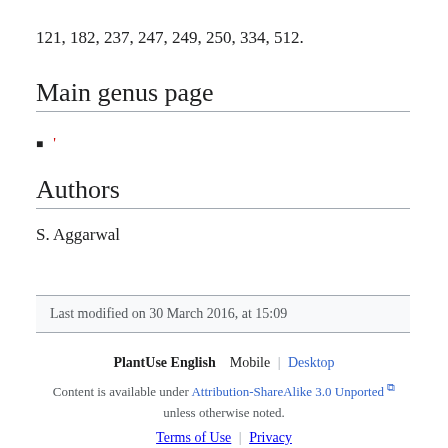121, 182, 237, 247, 249, 250, 334, 512.
Main genus page
'
Authors
S. Aggarwal
Last modified on 30 March 2016, at 15:09
PlantUse English  Mobile | Desktop
Content is available under Attribution-ShareAlike 3.0 Unported unless otherwise noted.
Terms of Use | Privacy